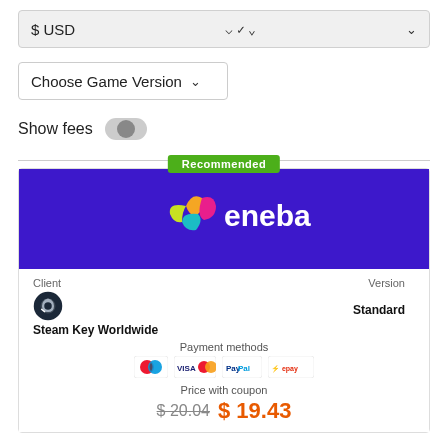$ USD
Choose Game Version
Show fees
[Figure (logo): Eneba logo on purple background with Recommended badge]
Client
Version
Standard
Steam Key Worldwide
Payment methods
Price with coupon
$ 20.04  $ 19.43